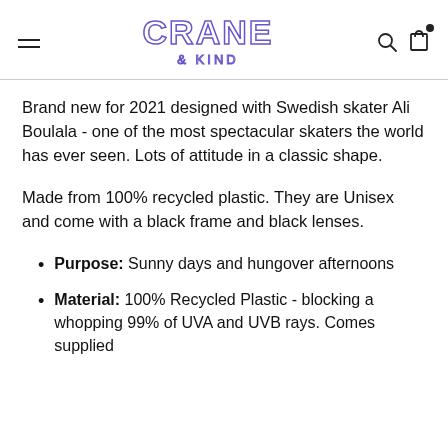CRANE & KIND
Brand new for 2021 designed with Swedish skater Ali Boulala - one of the most spectacular skaters the world has ever seen. Lots of attitude in a classic shape.
Made from 100% recycled plastic. They are Unisex and come with a black frame and black lenses.
Purpose: Sunny days and hungover afternoons
Material: 100% Recycled Plastic - blocking a whopping 99% of UVA and UVB rays. Comes supplied